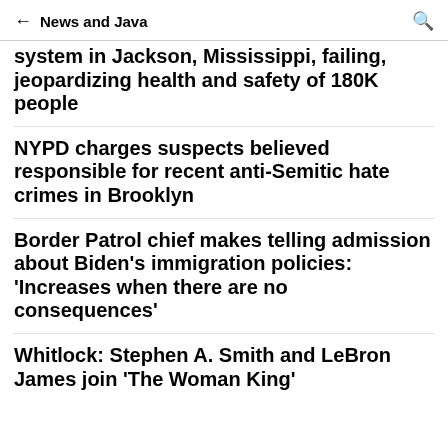← News and Java
system in Jackson, Mississippi, failing, jeopardizing health and safety of 180K people
NYPD charges suspects believed responsible for recent anti-Semitic hate crimes in Brooklyn
Border Patrol chief makes telling admission about Biden's immigration policies: 'Increases when there are no consequences'
Whitlock: Stephen A. Smith and LeBron James join 'The Woman King'